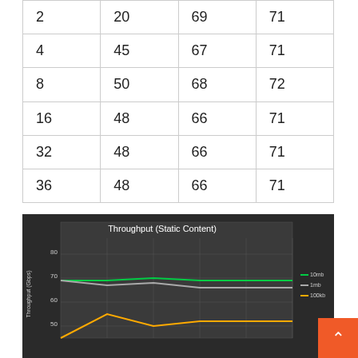| 2 | 20 | 69 | 71 |
| 4 | 45 | 67 | 71 |
| 8 | 50 | 68 | 72 |
| 16 | 48 | 66 | 71 |
| 32 | 48 | 66 | 71 |
| 36 | 48 | 66 | 71 |
[Figure (line-chart): Throughput (Static Content)]